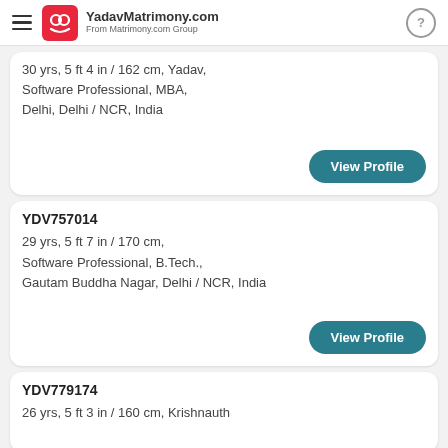YadavMatrimony.com — From Matrimony.com Group
30 yrs, 5 ft 4 in / 162 cm, Yadav, Software Professional, MBA, Delhi, Delhi / NCR, India
View Profile
YDV757014
29 yrs, 5 ft 7 in / 170 cm, Software Professional, B.Tech., Gautam Buddha Nagar, Delhi / NCR, India
View Profile
YDV779174
26 yrs, 5 ft 3 in / 160 cm, Krishnauth